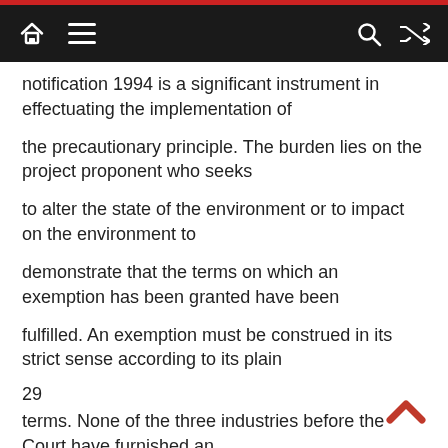navigation bar with home, menu, search, and shuffle icons
notification 1994 is a significant instrument in effectuating the implementation of
the precautionary principle. The burden lies on the project proponent who seeks
to alter the state of the environment or to impact on the environment to
demonstrate that the terms on which an exemption has been granted have been
fulfilled. An exemption must be construed in its strict sense according to its plain
29
terms. None of the three industries before the Court have furnished an